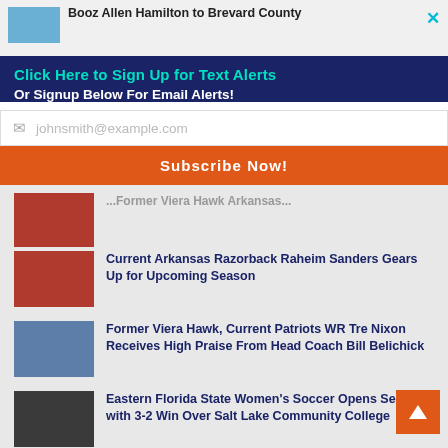Booz Allen Hamilton to Brevard County
Click Here to Sign Up for Text Alerts
Or Signup Below For Email Alerts!
johnsmith@example.com
Subscribe Now!
Current Arkansas Razorback Raheim Sanders Gears Up for Upcoming Season
Former Viera Hawk, Current Patriots WR Tre Nixon Receives High Praise From Head Coach Bill Belichick
Eastern Florida State Women's Soccer Opens Season with 3-2 Win Over Salt Lake Community College